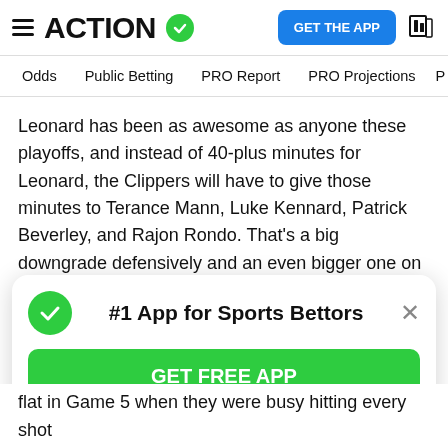ACTION (logo with checkmark) | GET THE APP
Odds | Public Betting | PRO Report | PRO Projections
Leonard has been as awesome as anyone these playoffs, and instead of 40-plus minutes for Leonard, the Clippers will have to give those minutes to Terance Mann, Luke Kennard, Patrick Beverley, and Rajon Rondo. That's a big downgrade defensively and an even bigger one on offense.
I'm not shocked the Clippers won Game 5 — I picked them, in fact. There can be an adrenaline letdown for a favorite after the opponent's superstar is ruled out. It literally happened with Leonard in 2017 with the Spurs up
[Figure (infographic): App download banner: #1 App for Sports Bettors with GET FREE APP button]
flat in Game 5 when they were busy hitting every shot